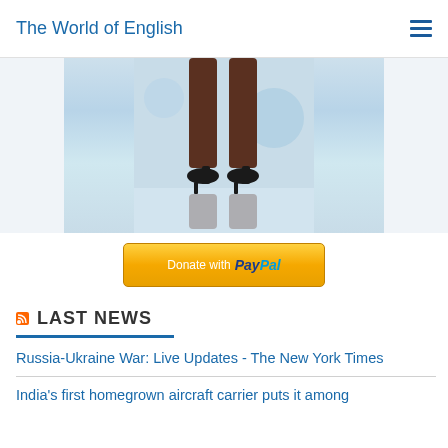The World of English
[Figure (photo): Partial view of a person's legs in black high heels standing on a light reflective surface with a globe/world imagery in the background]
[Figure (other): Donate with PayPal button — yellow/gold rounded button with PayPal logo]
LAST NEWS
Russia-Ukraine War: Live Updates - The New York Times
India's first homegrown aircraft carrier puts it among